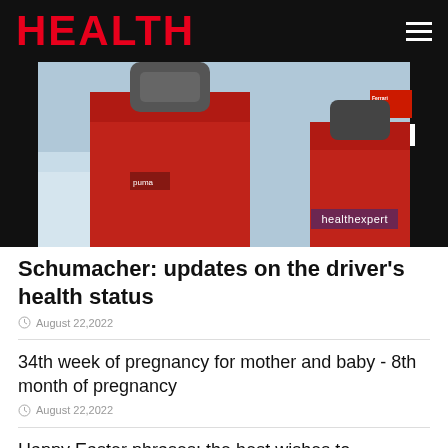HEALTH
[Figure (photo): A person wearing a red Ferrari racing jacket with Marlboro and Puma logos, standing in a snowy setting. Watermark reads 'healthexpert'.]
Schumacher: updates on the driver's health status
August 22,2022
34th week of pregnancy for mother and baby - 8th month of pregnancy
August 22,2022
Happy Easter phrases: the best wishes to